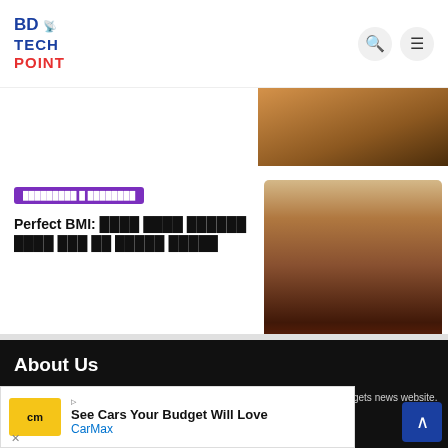BD TECH POINT
[Figure (photo): Cropped photo of a person, warm brown tones, top right corner]
স্বাস্থ্য ও ফিটনেস (category badge)
Perfect BMI: সঠিক ওজন বজায় রাখতে কিভাবে আপনি নিজেই নিজের সাহায্য করবেন
[Figure (photo): Fit male person showing physique, brown tones]
About Us
BD Tech Point is one of the growing and leading Bengali technology and gadgets news website. We publish news about latest and upcoming Technology, Gadgets
[Figure (other): CarMax advertisement: See Cars Your Budget Will Love]